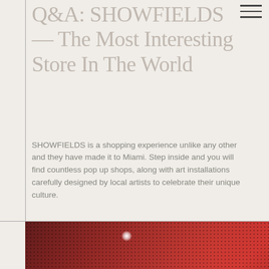Q&A: SHOWFIELDS — The Most Interesting Store In The World
SHOWFIELDS is a shopping experience unlike any other and they have made it to Miami. Step inside and you will find countless pop up shops, along with art installations carefully designed by local artists to celebrate their unique culture.
VIEW MORE
[Figure (photo): Dark reddish-toned photo showing a figure or face with red/pink lips visible, dot-pattern background, with a bright light glare spot, interior of SHOWFIELDS store.]